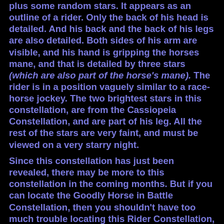plus some random stars. It appears as an outline of a rider. Only the back of his head is detailed. And his back and the back of his legs are also detailed. Both sides of his arm are visible, and his hand is gripping the horses mane, and that is detailed by three stars (which are also part of the horse's mane). The rider is in a position vaguely similar to a race-horse jockey. The two brightest stars in this constellation, are from the Cassiopeia Constellation, and are part of his leg. All the rest of the stars are very faint, and must be viewed on a very starry night.
Since this constellation has just been revealed, there may be more to this constellation in the coming months. But if you can locate the Goodly Horse in Battle Constellation, then you shouldn't have too much trouble locating this Rider Constellation, provided you have excellent star-